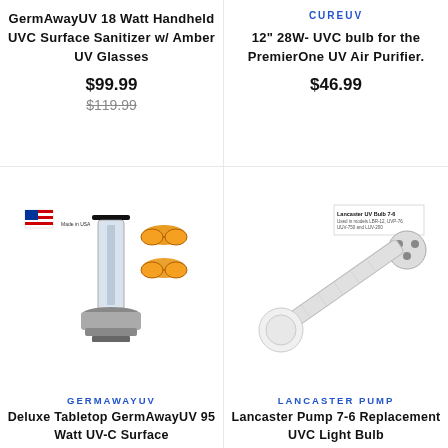GermAwayUV 18 Watt Handheld UVC Surface Sanitizer w/ Amber UV Glasses
$99.99
$119.99
CUREUV
12" 28W- UVC bulb for the PremierOne UV Air Purifier.
$46.99
[Figure (photo): GermAwayUV tabletop UV-C surface sanitizer device with amber UV glasses and Made in USA flag]
GERMAWAYUV
Deluxe Tabletop GermAwayUV 95 Watt UV-C Surface
[Figure (photo): Lancaster Pump UV bulb 7-6 replacement UVC light bulb with end cap connector]
LANCASTER PUMP
Lancaster Pump 7-6 Replacement UVC Light Bulb